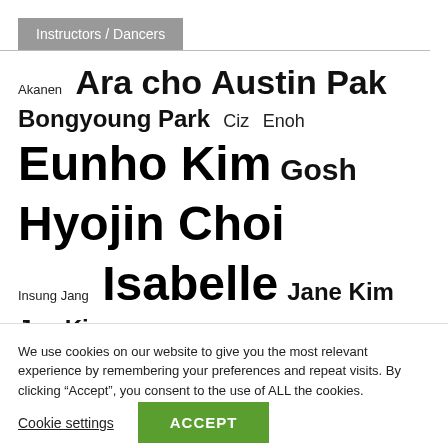Instructors / Dancers
Akanen  Ara cho  Austin Pak  Bongyoung Park  Ciz  Enoh  Eunho Kim  Gosh  Hyojin Choi  Insung Jang  Isabelle  Jane Kim  Jay Kim  J Ho  Jihoon Kim  Jin Lee  Iinwoo Yoon  Iivoung Youn  Iov Ieong
We use cookies on our website to give you the most relevant experience by remembering your preferences and repeat visits. By clicking “Accept”, you consent to the use of ALL the cookies.
Cookie settings
ACCEPT